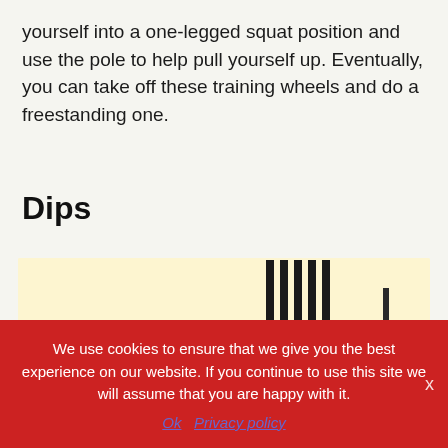yourself into a one-legged squat position and use the pole to help pull yourself up. Eventually, you can take off these training wheels and do a freestanding one.
Dips
[Figure (illustration): Vintage illustration of two figures (an adult and a child) appearing to observe or perform dips on parallel bars or gymnastics equipment. A red downward arrow is visible in the center of the image. The background is a pale yellow/cream color with black ink line art.]
We use cookies to ensure that we give you the best experience on our website. If you continue to use this site we will assume that you are happy with it.
Ok   Privacy policy